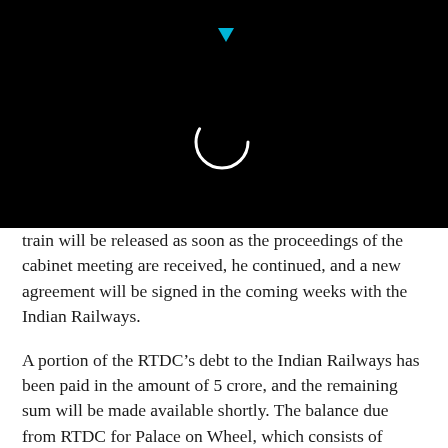[Figure (screenshot): Black screen with a loading spinner circle (white outline circle, partially complete arc) and a small cyan/teal downward-pointing triangle icon at the top center, indicating a loading/buffering state of a video or web page.]
train will be released as soon as the proceedings of the cabinet meeting are received, he continued, and a new agreement will be signed in the coming weeks with the Indian Railways.
A portion of the RTDC’s debt to the Indian Railways has been paid in the amount of 5 crore, and the remaining sum will be made available shortly. The balance due from RTDC for Palace on Wheel, which consists of principle and interest, is Rs. 28 crore. According to the spokesman, the railway has already cut 10 crore because one of the trains was withdrawn.
Due to COVID-19, the train was out of service for more